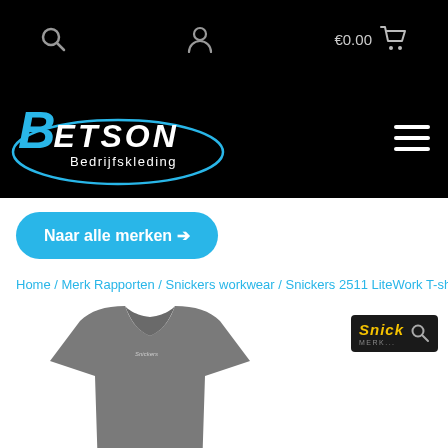[Figure (screenshot): E-commerce website header with black navigation bar showing search icon, user icon, and cart showing €0.00]
[Figure (logo): Betson Bedrijfskleding logo in white and cyan on black background with hamburger menu]
Naar alle merken ➔
Home / Merk Rapporten / Snickers workwear / Snickers 2511 LiteWork T-shirt
[Figure (photo): Gray Snickers 2511 LiteWork T-shirt product photo with Snickers brand badge overlay]